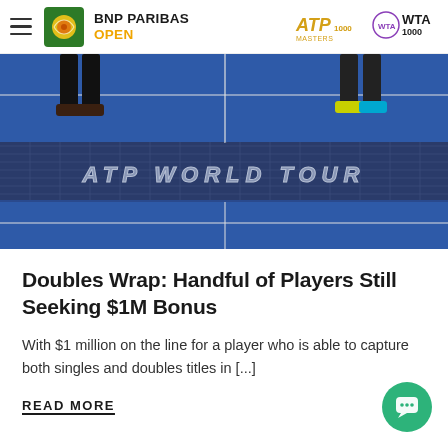BNP PARIBAS OPEN
[Figure (photo): Tennis court photo showing players' legs near the net, with 'ATP WORLD TOUR' text on the net strap, blue hard court surface]
Doubles Wrap: Handful of Players Still Seeking $1M Bonus
With $1 million on the line for a player who is able to capture both singles and doubles titles in [...]
READ MORE